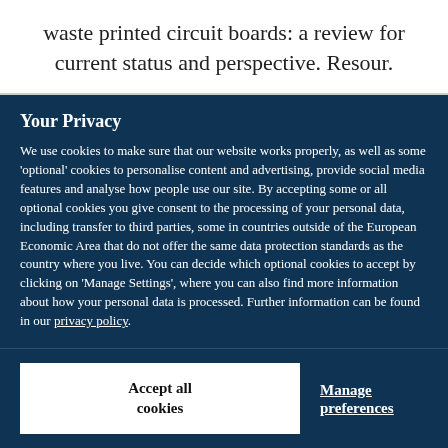waste printed circuit boards: a review for current status and perspective. Resour.
Your Privacy
We use cookies to make sure that our website works properly, as well as some ‘optional’ cookies to personalise content and advertising, provide social media features and analyse how people use our site. By accepting some or all optional cookies you give consent to the processing of your personal data, including transfer to third parties, some in countries outside of the European Economic Area that do not offer the same data protection standards as the country where you live. You can decide which optional cookies to accept by clicking on ‘Manage Settings’, where you can also find more information about how your personal data is processed. Further information can be found in our privacy policy.
Accept all cookies
Manage preferences